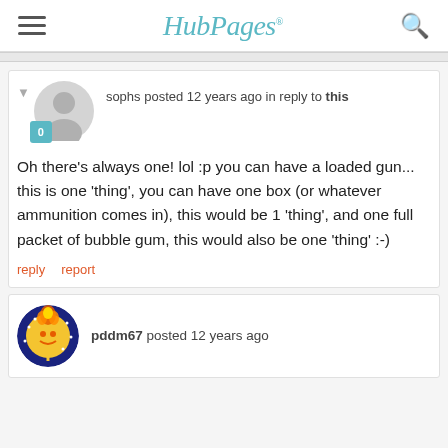HubPages
sophs posted 12 years ago in reply to this

Oh there's always one! lol :p you can have  a loaded gun... this is one 'thing', you can have one box (or whatever ammunition comes in), this would be 1 'thing', and one full packet of bubble gum, this would also be one 'thing' :-)
pddm67 posted 12 years ago